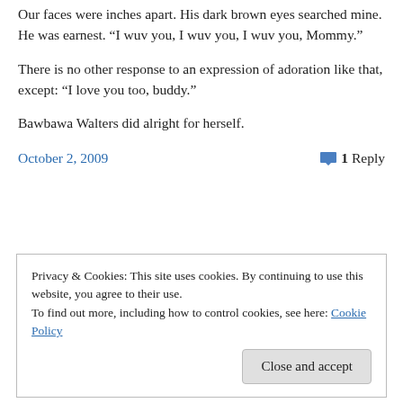Our faces were inches apart. His dark brown eyes searched mine. He was earnest. “I wuv you, I wuv you, I wuv you, Mommy.”
There is no other response to an expression of adoration like that, except: “I love you too, buddy.”
Bawbawa Walters did alright for herself.
October 2, 2009   1 Reply
Privacy & Cookies: This site uses cookies. By continuing to use this website, you agree to their use.
To find out more, including how to control cookies, see here: Cookie Policy
Close and accept